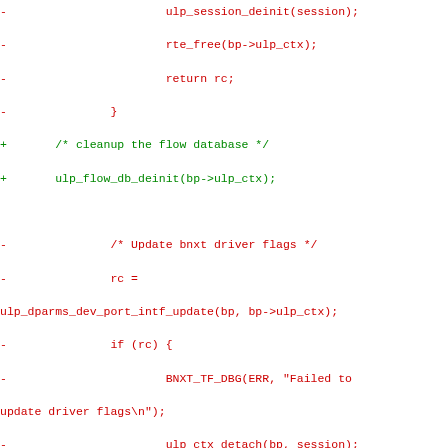Code diff showing changes to driver cleanup and database update functions including ulp_session_deinit, rte_free, ulp_flow_db_deinit, ulp_mark_db_deinit, and ulp_port_db_dev_port_intf_update calls